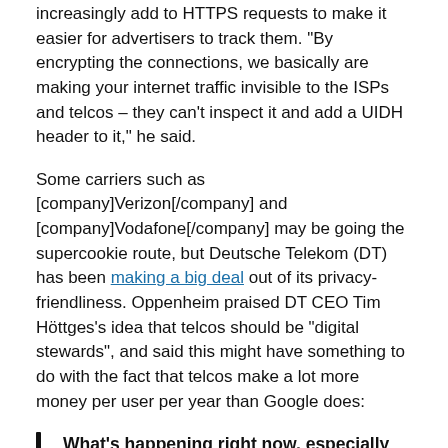increasingly add to HTTPS requests to make it easier for advertisers to track them. “By encrypting the connections, we basically are making your internet traffic invisible to the ISPs and telcos – they can’t inspect it and add a UIDH header to it,” he said.
Some carriers such as [company]Verizon[/company] and [company]Vodafone[/company] may be going the supercookie route, but Deutsche Telekom (DT) has been making a big deal out of its privacy-friendliness. Oppenheim praised DT CEO Tim Höttges’s idea that telcos should be “digital stewards”, and said this might have something to do with the fact that telcos make a lot more money per user per year than Google does:
What’s happening right now, especially vis-à-vis people like Google, and cybercrime that’s happening, represents a real threat to people using their devices. The erosion of trust is a real